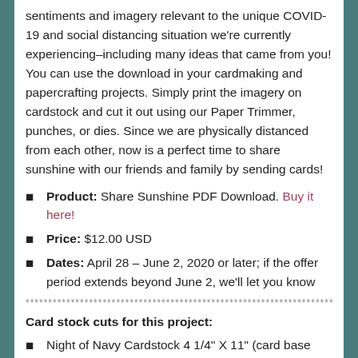sentiments and imagery relevant to the unique COVID-19 and social distancing situation we're currently experiencing–including many ideas that came from you! You can use the download in your cardmaking and papercrafting projects. Simply print the imagery on cardstock and cut it out using our Paper Trimmer, punches, or dies. Since we are physically distanced from each other, now is a perfect time to share sunshine with our friends and family by sending cards!
Product: Share Sunshine PDF Download. Buy it here!
Price: $12.00 USD
Dates: April 28 – June 2, 2020 or later; if the offer period extends beyond June 2, we'll let you know
Card stock cuts for this project:
Night of Navy Cardstock 4 1/4" X 11" (card base